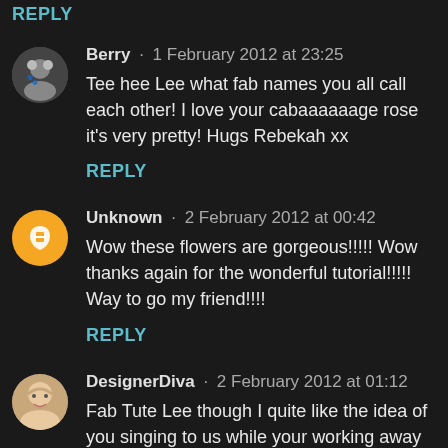REPLY
Berry · 1 February 2012 at 23:25
Tee hee Lee what fab names you all call each other! I love your cabaaaaaage rose it's very pretty! Hugs Rebekah xx
REPLY
Unknown · 2 February 2012 at 00:42
Wow these flowers are gorgeous!!!!! Wow thanks again for the wonderful tutorial!!!!! Way to go my friend!!!!
REPLY
DesignerDiva · 2 February 2012 at 01:12
Fab Tute Lee though I quite like the idea of you singing to us while your working away lol! The rose is amazing as is EVERYTHING you make! I had to laugh at myself though, I